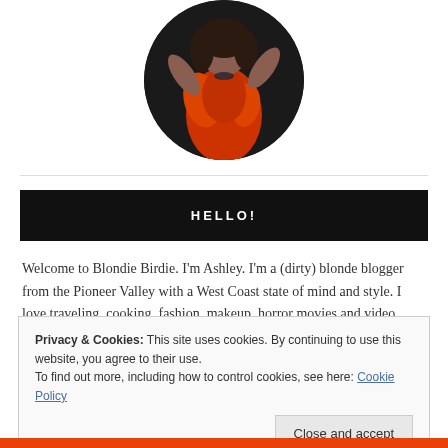[Figure (photo): Circular profile photo of a woman in a red/orange dress with arms raised, dark background]
HELLO!
Welcome to Blondie Birdie. I'm Ashley. I'm a (dirty) blonde blogger from the Pioneer Valley with a West Coast state of mind and style. I love traveling, cooking, fashion, makeup, horror movies and video games.
Privacy & Cookies: This site uses cookies. By continuing to use this website, you agree to their use.
To find out more, including how to control cookies, see here: Cookie Policy
Close and accept